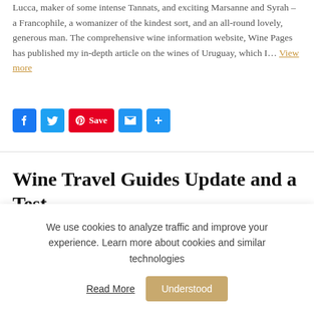Lucca, maker of some intense Tannats, and exciting Marsanne and Syrah – a Francophile, a womanizer of the kindest sort, and an all-round lovely, generous man. The comprehensive wine information website, Wine Pages has published my in-depth article on the wines of Uruguay, which I… View more
[Figure (other): Social sharing buttons: Facebook, Twitter, Pinterest (Save), Email, Plus]
Wine Travel Guides Update and a Test
Wink Lorch  August 1, 2007
We use cookies to analyze traffic and improve your experience. Learn more about cookies and similar technologies Read More  Understood